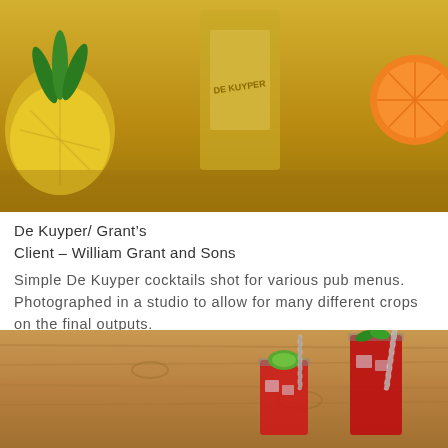[Figure (photo): Studio photograph showing tropical fruits including pineapple, watermelon slices, and orange slices arranged on a golden surface with a bottle/product partially visible]
De Kuyper/ Grant's
Client – William Grant and Sons
Simple De Kuyper cocktails shot for various pub menus. Photographed in a studio to allow for many different crops on the final outputs.
[Figure (photo): Studio photograph of two red cocktail drinks with ice, lime garnish, and striped paper straws on a wooden surface — De Kuyper cocktails]